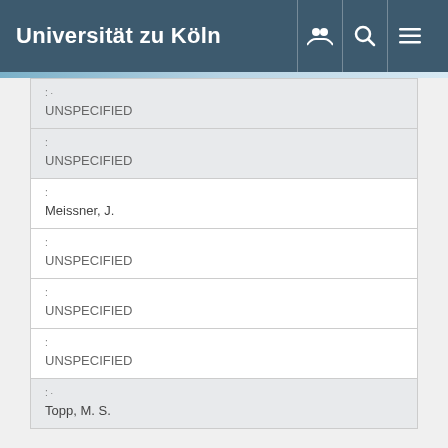Universität zu Köln
| label | value |
| --- | --- |
| :- | UNSPECIFIED |
| : | UNSPECIFIED |
| : | Meissner, J. |
| : | UNSPECIFIED |
| : | UNSPECIFIED |
| : | UNSPECIFIED |
| :· | Topp, M. S. |